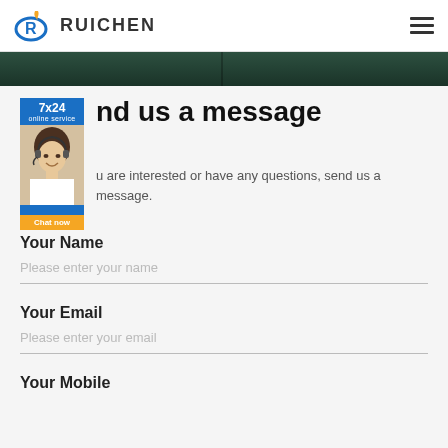RUICHEN
[Figure (photo): Dark banner/hero image strip at top of page]
[Figure (infographic): 7x24 online service badge with chat agent photo and Chat now button overlay]
Send us a message
If you are interested or have any questions, send us a message.
Your Name
Please enter your name
Your Email
Please enter your email
Your Mobile